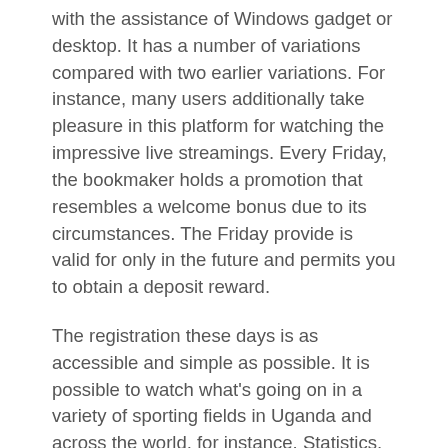with the assistance of Windows gadget or desktop. It has a number of variations compared with two earlier variations. For instance, many users additionally take pleasure in this platform for watching the impressive live streamings. Every Friday, the bookmaker holds a promotion that resembles a welcome bonus due to its circumstances. The Friday provide is valid for only in the future and permits you to obtain a deposit reward.
The registration these days is as accessible and simple as possible. It is possible to watch what's going on in a variety of sporting fields in Uganda and across the world, for instance. Statistics, reside scores, previous scores, and lots of different incredible options and characteristics can be found. The variety of such confrontations is rapidly rising, which opens up broad prospects for registered prospects. As a common recommendation, it is recommended to concentrate